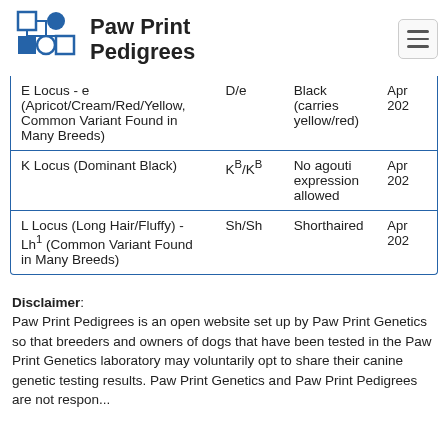[Figure (logo): Paw Print Pedigrees logo with blue pedigree chart icon and text 'Paw Print Pedigrees']
| Locus/Test | Genotype | Result | Date |
| --- | --- | --- | --- |
| E Locus - e (Apricot/Cream/Red/Yellow, Common Variant Found in Many Breeds) | D/e | Black (carries yellow/red) | Apr 202 |
| K Locus (Dominant Black) | KB/KB | No agouti expression allowed | Apr 202 |
| L Locus (Long Hair/Fluffy) - Lh1 (Common Variant Found in Many Breeds) | Sh/Sh | Shorthaired | Apr 202 |
Disclaimer: Paw Print Pedigrees is an open website set up by Paw Print Genetics so that breeders and owners of dogs that have been tested in the Paw Print Genetics laboratory may voluntarily opt to share their canine genetic testing results. Paw Print Genetics and Paw Print Pedigrees are not responsible...